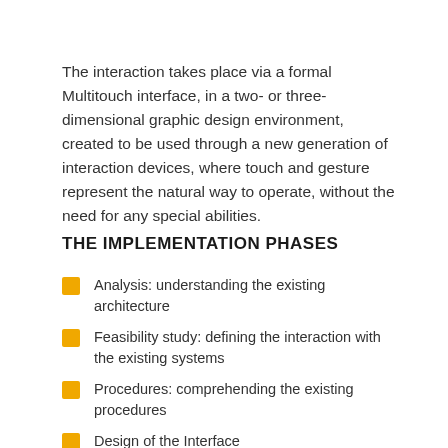The interaction takes place via a formal Multitouch interface, in a two- or three-dimensional graphic design environment, created to be used through a new generation of interaction devices, where touch and gesture represent the natural way to operate, without the need for any special abilities.
THE IMPLEMENTATION PHASES
Analysis: understanding the existing architecture
Feasibility study: defining the interaction with the existing systems
Procedures: comprehending the existing procedures
Design of the Interface
Customisation